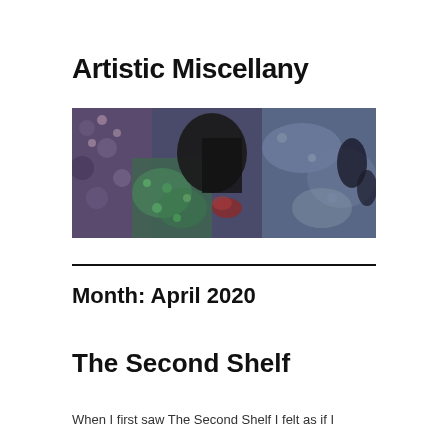Artistic Miscellany
[Figure (photo): Panoramic banner image showing a detailed textile or embroidered fabric artwork with dark blues, greens, purples, and black tones, depicting organic and abstract floral or nature patterns.]
Month: April 2020
The Second Shelf
When I first saw The Second Shelf I felt as if I